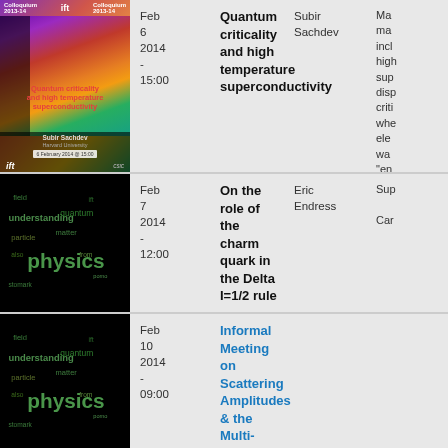[Figure (photo): IFT Colloquium poster for Quantum criticality and high temperature superconductivity by Subir Sachdev, Harvard University, 6 February 2014]
Feb
6
2014
-
15:00
Quantum criticality and high temperature superconductivity
Subir Sachdev
Many aspects of high-temperature superconductors display quantum criticality where electrons travel in ways described as 'entangled' that can carry energy and excitations can...
[Figure (illustration): Physics word cloud on black background with words: field, understanding, quantum, particle, physics, matter]
Feb
7
2014
-
12:00
On the role of the charm quark in the Delta I=1/2 rule
Eric Endress
Sup
Car
[Figure (illustration): Physics word cloud on black background with words: field, understanding, quantum, particle, physics, matter]
Feb
10
2014
-
09:00
Informal Meeting on Scattering Amplitudes & the Multi-Regge limit